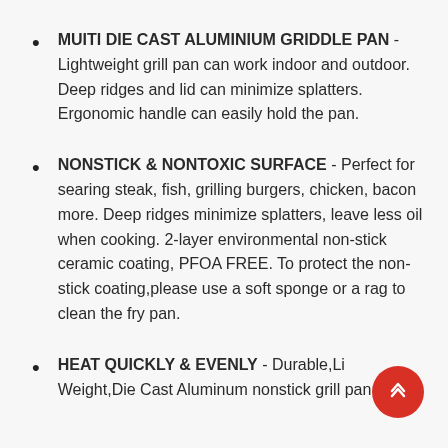MUITI DIE CAST ALUMINIUM GRIDDLE PAN - Lightweight grill pan can work indoor and outdoor. Deep ridges and lid can minimize splatters. Ergonomic handle can easily hold the pan.
NONSTICK & NONTOXIC SURFACE - Perfect for searing steak, fish, grilling burgers, chicken, bacon more. Deep ridges minimize splatters, leave less oil when cooking. 2-layer environmental non-stick ceramic coating, PFOA FREE. To protect the non-stick coating,please use a soft sponge or a rag to clean the fry pan.
HEAT QUICKLY & EVENLY - Durable,Light Weight,Die Cast Aluminum nonstick grill pan